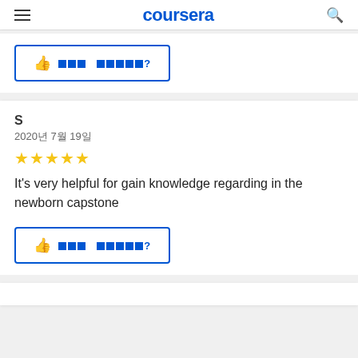coursera
[Figure (screenshot): Top partial review card with thumbs-up 'helpful' button showing placeholder text]
S
2020년 7월 19일
[Figure (other): Five gold stars rating]
It's very helpful for gain knowledge regarding in the newborn capstone
[Figure (screenshot): Thumbs-up helpful button with placeholder text]
[Figure (screenshot): Bottom partial review card (truncated)]